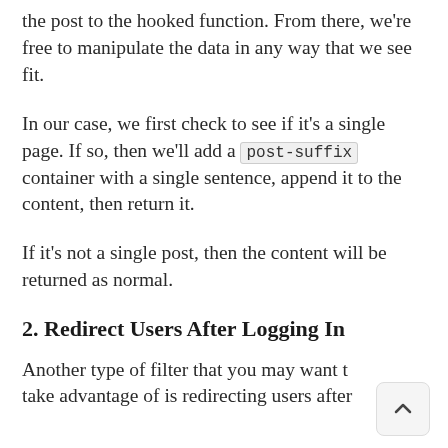the post to the hooked function. From there, we're free to manipulate the data in any way that we see fit.
In our case, we first check to see if it's a single page. If so, then we'll add a post-suffix container with a single sentence, append it to the content, then return it.
If it's not a single post, then the content will be returned as normal.
2. Redirect Users After Logging In
Another type of filter that you may want to take advantage of is redirecting users after